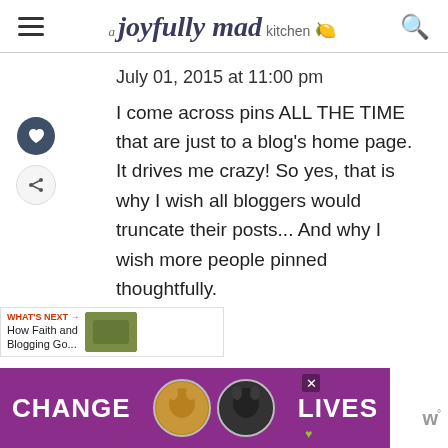a joyfully mad kitchen
July 01, 2015 at 11:00 pm
I come across pins ALL THE TIME that are just to a blog's home page. It drives me crazy! So yes, that is why I wish all bloggers would truncate their posts... And why I wish more people pinned thoughtfully.
[Figure (infographic): Advertisement banner with purple background showing two cats and text 'CHANGE LIVES']
[Figure (infographic): What's Next overlay showing 'How Faith and Blogging Go...' with thumbnail image]